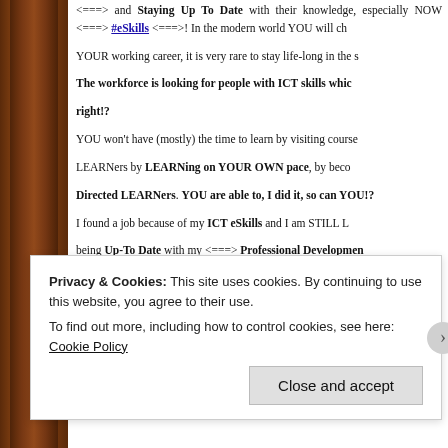<===> and Staying Up To Date with their knowledge, especially NOW <===> #eSkills <===>! In the modern world YOU will change YOUR working career, it is very rare to stay life-long in the same job. The workforce is looking for people with ICT skills which is very right!?
YOU won't have (mostly) the time to learn by visiting courses. LEARNers by LEARNing on YOUR OWN pace, by becoming Self-Directed LEARNers. YOU are able to, I did it, so can YOU!?
I found a job because of my ICT eSkills and I am STILL LEARNing, being Up-To Date with my <===> Professional Development and the pleasure of LEARNing!
I did THE <===> ICT PracTICE <===> and THE needs!!!
Privacy & Cookies: This site uses cookies. By continuing to use this website, you agree to their use. To find out more, including how to control cookies, see here: Cookie Policy
Close and accept